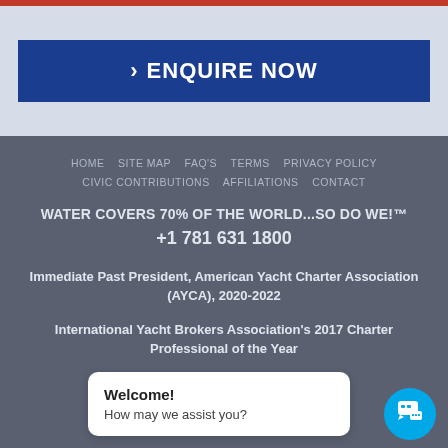ENQUIRE NOW
HOME   SITE MAP   FAQ'S   TERMS   PRIVACY POLICY   CIVIC CONTRIBUTIONS   AFFILIATIONS   CONTACT
WATER COVERS 70% OF THE WORLD...SO DO WE!™
+1 781 631 1800
Immediate Past President, American Yacht Charter Association (AYCA), 2020-2022
International Yacht Brokers Association's 2017 Charter Professional of the Year
Copyright © 2022 Ca...on Bos...
Welcome! How may we assist you?